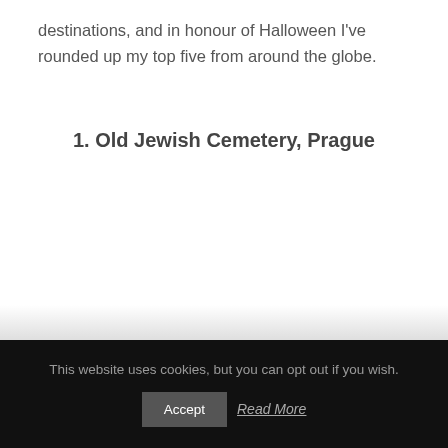destinations, and in honour of Halloween I've rounded up my top five from around the globe.
1. Old Jewish Cemetery, Prague
This website uses cookies, but you can opt out if you wish.
Accept | Read More